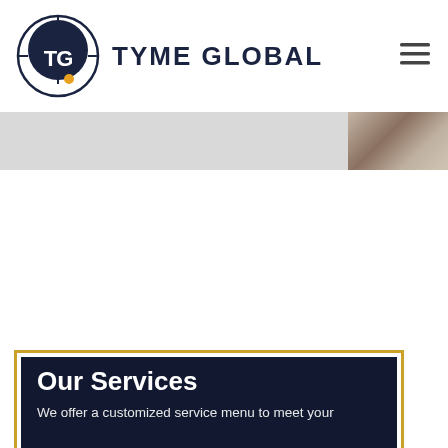[Figure (logo): Tyme Global logo: circular navy badge with TG letters and yellow dot accent, with TYME GLOBAL wordmark to the right]
[Figure (photo): Hamburger menu icon (three horizontal lines) in top right of navigation bar]
[Figure (photo): Gray banner strip with a blurry photo of objects on the right side]
Our Services
We offer a customized service menu to meet your